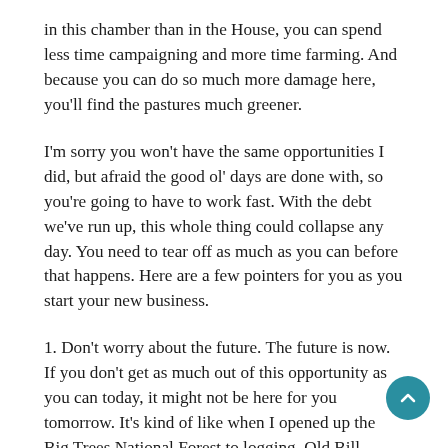in this chamber than in the House, you can spend less time campaigning and more time farming. And because you can do so much more damage here, you'll find the pastures much greener.
I'm sorry you won't have the same opportunities I did, but afraid the good ol' days are done with, so you're going to have to work fast. With the debt we've run up, this whole thing could collapse any day. You need to tear off as much as you can before that happens. Here are a few pointers for you as you start your new business.
1. Don't worry about the future. The future is now. If you don't get as much out of this opportunity as you can today, it might not be here for you tomorrow. It's kind of like when I opened up the Big Trees National Forest to logging. Old Bill Bunyan had to get in there and clearcut before someone else got the logs. You